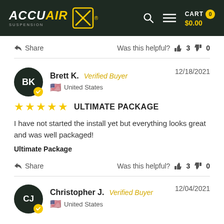AccuAir Suspension — CART $0.00
Share  Was this helpful? 👍 3 👎 0
Brett K.  Verified Buyer  12/18/2021  United States
★★★★★  ULTIMATE PACKAGE
I have not started the install yet but everything looks great and was well packaged!
Ultimate Package
Share  Was this helpful? 👍 3 👎 0
Christopher J.  Verified Buyer  12/04/2021  United States